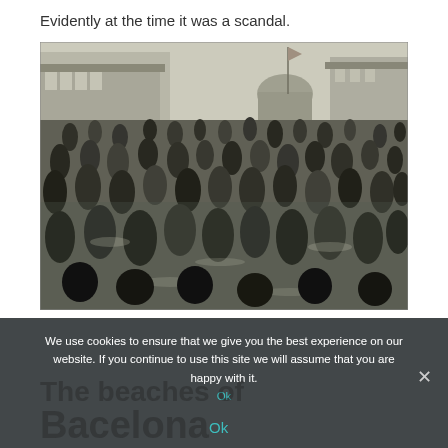Evidently at the time it was a scandal.
[Figure (photo): Black and white historical photograph showing a large crowd of people wading and bathing in water at what appears to be an early 20th century beach or bathing area. Buildings with awnings are visible in the background, and a flagpole can be seen. The bathers are wearing old-fashioned swimwear.]
We use cookies to ensure that we give you the best experience on our website. If you continue to use this site we will assume that you are happy with it.
The beaches of Barcelona Ok